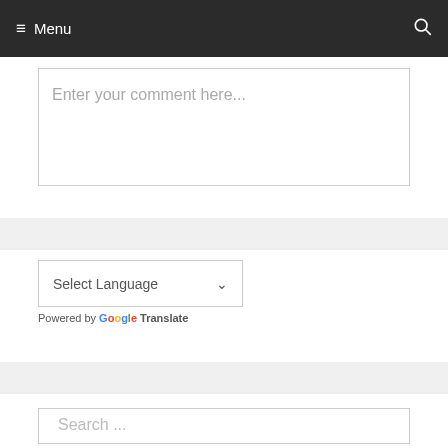≡ Menu
Enter your comment here...
Select Language
Powered by Google Translate
Search ...